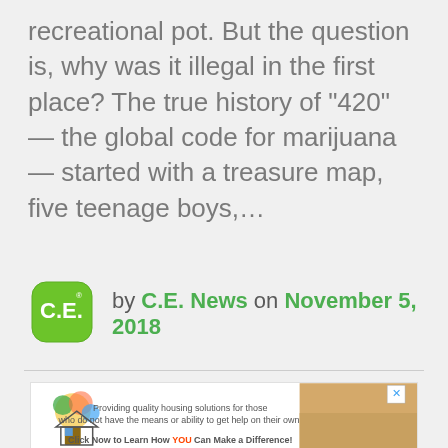recreational pot. But the question is, why was it illegal in the first place? The true history of “420” — the global code for marijuana — started with a treasure map, five teenage boys,…
by C.E. News on November 5, 2018
[Figure (logo): C.E. News logo: green rounded square badge with white text C.E. and a registered trademark symbol]
[Figure (infographic): Giving Tree Housing advertisement banner with logo, text about providing quality housing solutions, and a photo of hands]
SHARE
[Figure (infographic): Social share buttons: Facebook (dark blue), Twitter (light blue), LinkedIn (blue), Google+ (red), Reddit (orange-red), WhatsApp (green), Email (gray)]